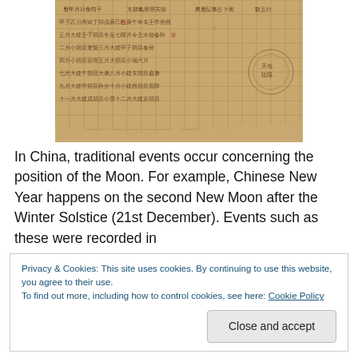[Figure (photo): Ancient Chinese manuscript or calendar scroll with Chinese characters arranged in a grid/table format on aged, brownish paper]
In China, traditional events occur concerning the position of the Moon. For example, Chinese New Year happens on the second New Moon after the Winter Solstice (21st December). Events such as these were recorded in
Privacy & Cookies: This site uses cookies. By continuing to use this website, you agree to their use.
To find out more, including how to control cookies, see here: Cookie Policy
[Close and accept]